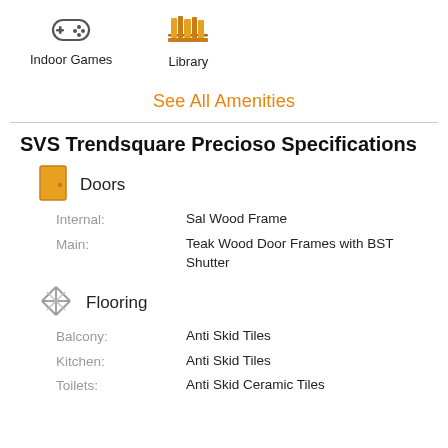[Figure (illustration): Game controller icon for Indoor Games amenity]
Indoor Games
[Figure (illustration): Library/books icon for Library amenity]
Library
See All Amenities
SVS Trendsquare Precioso Specifications
[Figure (illustration): Door icon for Doors section]
Doors
Internal: Sal Wood Frame
Main: Teak Wood Door Frames with BST Shutter
[Figure (illustration): Flooring/tile pattern icon for Flooring section]
Flooring
Balcony: Anti Skid Tiles
Kitchen: Anti Skid Tiles
Toilets: Anti Skid Ceramic Tiles